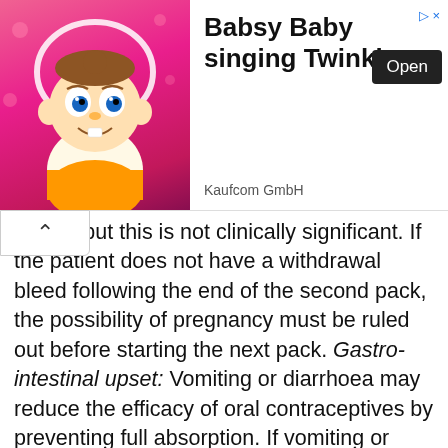[Figure (other): Advertisement banner: Babsy Baby singing Twinkle app ad with animated baby image, Open button, and Kaufcom GmbH company name]
g days but this is not clinically significant. If the patient does not have a withdrawal bleed following the end of the second pack, the possibility of pregnancy must be ruled out before starting the next pack. Gastro-intestinal upset: Vomiting or diarrhoea may reduce the efficacy of oral contraceptives by preventing full absorption. If vomiting or diarrhoea occurs within 4 hours of tablet-taking from the current pack should be continued. Additional non-hormonal methods of contraception (except the rhythm or temperature methods) should be used during the gastro-intestinal upset and for 7 days